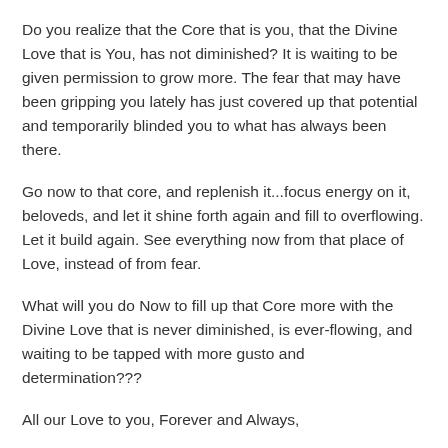Do you realize that the Core that is you, that the Divine Love that is You, has not diminished? It is waiting to be given permission to grow more. The fear that may have been gripping you lately has just covered up that potential and temporarily blinded you to what has always been there.
Go now to that core, and replenish it...focus energy on it, beloveds, and let it shine forth again and fill to overflowing. Let it build again. See everything now from that place of Love, instead of from fear.
What will you do Now to fill up that Core more with the Divine Love that is never diminished, is ever-flowing, and waiting to be tapped with more gusto and determination???
All our Love to you, Forever and Always,
We Are Yeshua and Mary Magdalene